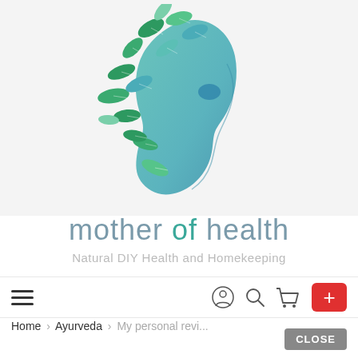[Figure (logo): Mother of Health website logo: stylized woman's head silhouette in teal/blue with green leaves flying out from the head area, on a light gray background]
mother of health
Natural DIY Health and Homekeeping
[Figure (infographic): Navigation bar with hamburger menu icon on left, and user/search/cart icons plus a red + button on the right]
Home › Ayurveda › My personal revi...
CLOSE